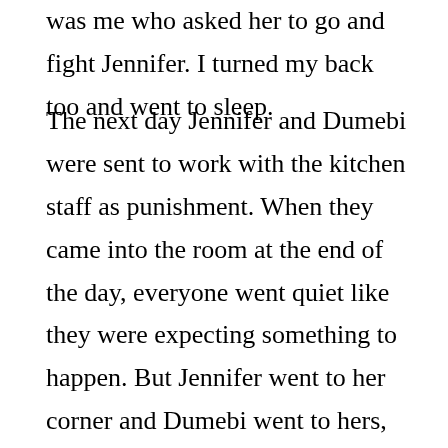was me who asked her to go and fight Jennifer. I turned my back too and went to sleep.
The next day Jennifer and Dumebi were sent to work with the kitchen staff as punishment. When they came into the room at the end of the day, everyone went quiet like they were expecting something to happen. But Jennifer went to her corner and Dumebi went to hers, and slowly the others went back to their business.